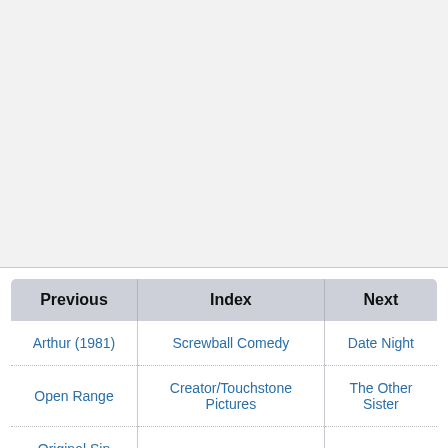[Figure (other): Large light gray blank area occupying the top portion of the page, separated by a horizontal rule.]
| Previous | Index | Next |
| --- | --- | --- |
| Arthur (1981) | Screwball Comedy | Date Night |
| Open Range | Creator/Touchstone Pictures | The Other Sister |
| Original Sin (2001) | BoxOfficeBomb/N-R | Osmosis Jones |